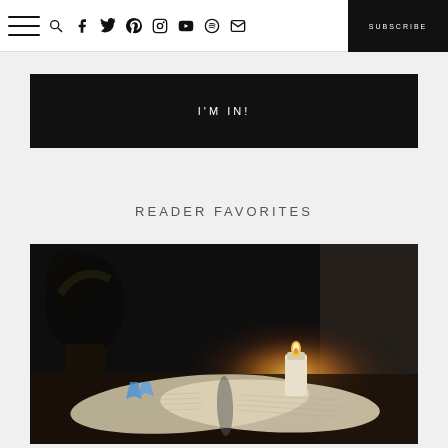Navigation bar with hamburger menu, social icons (search, facebook, twitter, pinterest, instagram, youtube, spotify, email), and SUBSCRIBE button
I'M IN!
READER FAVORITES
[Figure (photo): A dark atmospheric photo of an open book with a ribbon bookmark and a lit candle glowing warmly in the background, with a plant silhouette visible]